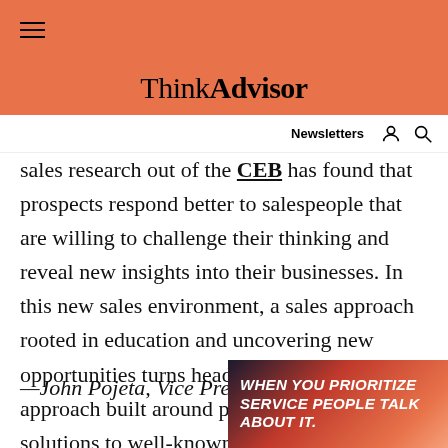ThinkAdvisor
sales research out of the CEB has found that prospects respond better to salespeople that are willing to challenge their thinking and reveal new insights into their businesses. In this new sales environment, a sales approach rooted in education and uncovering new opportunities turns heads faster than an approach built around pitching well-known solutions to well-known problems. What haven't your prospects considered? What is around the bend that you can illuminate for them? That's m
—John Pojeta, Vice Presiden
[Figure (other): Advertisement overlay reading 'WHEN YOU PRIORITIZE SERVICE PEOPLE TALK ABOUT IT.' on a dark gradient background]